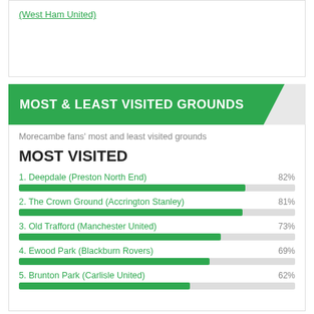(West Ham United)
MOST & LEAST VISITED GROUNDS
Morecambe fans' most and least visited grounds
MOST VISITED
[Figure (bar-chart): Most Visited Grounds]